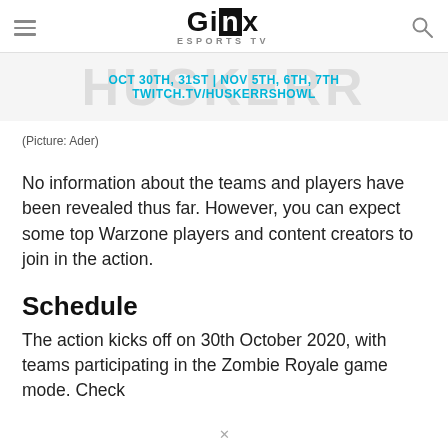GINX ESPORTS TV
[Figure (screenshot): Banner image showing tournament schedule text: OCT 30TH, 31ST | NOV 5TH, 6TH, 7TH and TWITCH.TV/HUSKERRSHOWL overlaid on a faded background graphic]
(Picture: Ader)
No information about the teams and players have been revealed thus far. However, you can expect some top Warzone players and content creators to join in the action.
Schedule
The action kicks off on 30th October 2020, with teams participating in the Zombie Royale game mode. Check